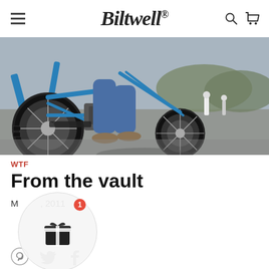Biltwell
[Figure (photo): Close-up photo of a custom blue chopper motorcycle at an outdoor event. A rider in jeans and boots is straddling the low-slung bike with spoked wheels, visible engine, and a blue frame. Other motorcycles and people are visible in the background on a paved lot with hills.]
WTF
From the vault
May 9, 2011